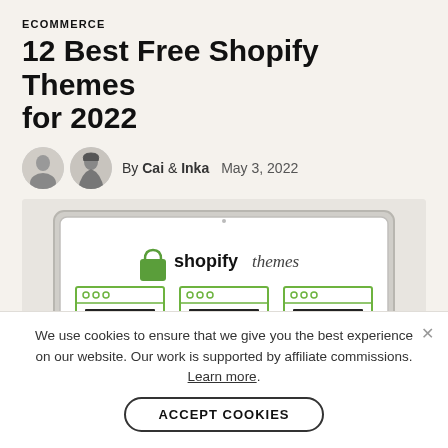ECOMMERCE
12 Best Free Shopify Themes for 2022
By Cai & Inka  May 3, 2022
[Figure (illustration): Laptop computer displaying Shopify themes logo and three webpage wireframe mockups with green borders and black content blocks]
We use cookies to ensure that we give you the best experience on our website. Our work is supported by affiliate commissions. Learn more.
ACCEPT COOKIES